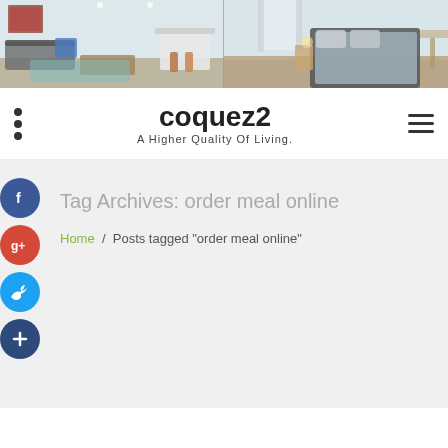[Figure (photo): Two interior room photos side by side: left shows a modern living room and kitchen, right shows a bedroom with gray bedding.]
coquez2
A Higher Quality Of Living.
Tag Archives: order meal online
Home / Posts tagged "order meal online"